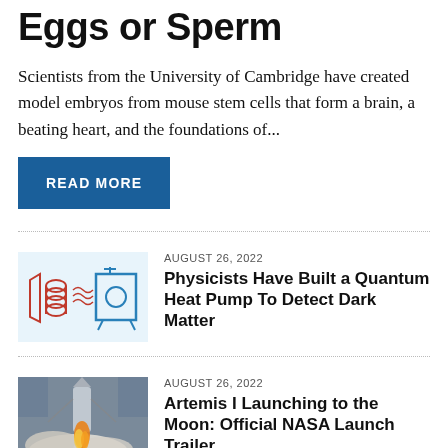Eggs or Sperm
Scientists from the University of Cambridge have created model embryos from mouse stem cells that form a brain, a beating heart, and the foundations of...
READ MORE
[Figure (illustration): Diagram showing a red coil/spring and oscillating wave symbols on the left (red) connected to a blue rectangular shape with circular element on the right, representing a quantum heat pump schematic.]
AUGUST 26, 2022
Physicists Have Built a Quantum Heat Pump To Detect Dark Matter
[Figure (photo): Photo of a rocket launching with flames and smoke visible at the base, taken from below looking upward.]
AUGUST 26, 2022
Artemis I Launching to the Moon: Official NASA Launch Trailer